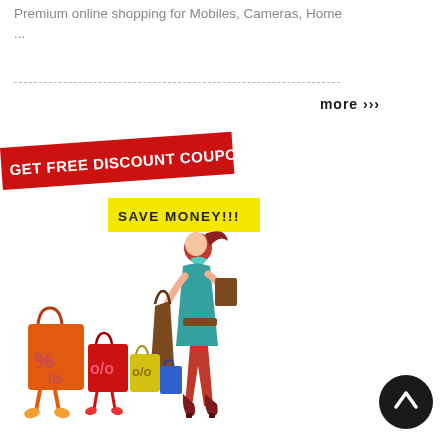Premium online shopping for Mobiles, Cameras, Home ...
more ›››
[Figure (illustration): Promotional banner with red ribbon saying 'GET FREE DISCOUNT COUPONS' and yellow banner saying 'SAVE MONEY!!!' with a cartoon woman in teal dress carrying shopping bags and anthropomorphic shopping bags with percentage signs.]
[Figure (illustration): Dark circular scroll-to-top button with upward chevron arrow.]